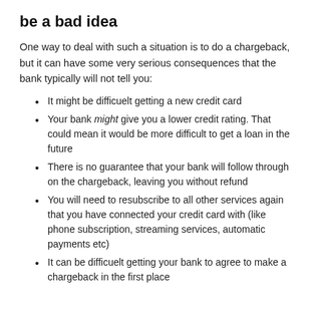be a bad idea
One way to deal with such a situation is to do a chargeback, but it can have some very serious consequences that the bank typically will not tell you:
It might be difficuelt getting a new credit card
Your bank might give you a lower credit rating. That could mean it would be more difficult to get a loan in the future
There is no guarantee that your bank will follow through on the chargeback, leaving you without refund
You will need to resubscribe to all other services again that you have connected your credit card with (like phone subscription, streaming services, automatic payments etc)
It can be difficuelt getting your bank to agree to make a chargeback in the first place